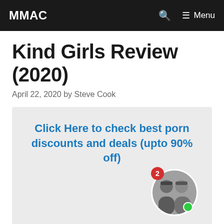MMAC  🔍  ≡ Menu
Kind Girls Review (2020)
April 22, 2020 by Steve Cook
Click Here to check best porn discounts and deals (upto 90% off)
[Figure (other): Chat widget showing two avatars in a circle with a red badge showing '2' and a green online dot]